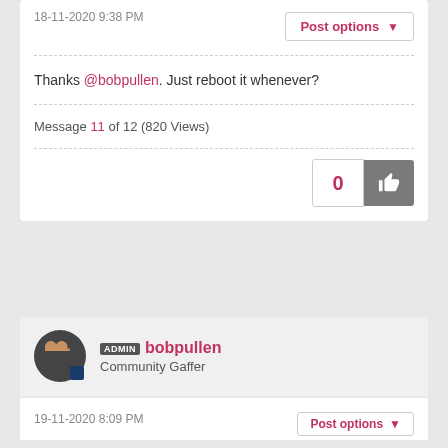18-11-2020 9:38 PM
Post options
Thanks @bobpullen. Just reboot it whenever?
Message 11 of 12 (820 Views)
0
ADMIN bobpullen
Community Gaffer
19-11-2020 8:09 PM
Post options